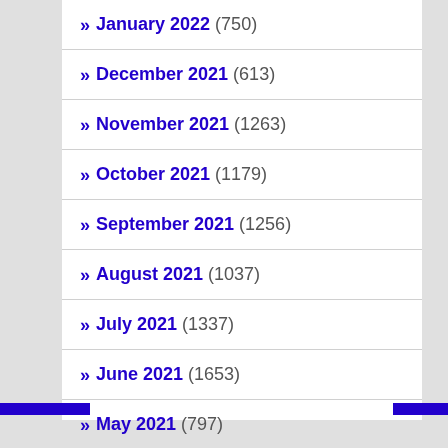» January 2022 (750)
» December 2021 (613)
» November 2021 (1263)
» October 2021 (1179)
» September 2021 (1256)
» August 2021 (1037)
» July 2021 (1337)
» June 2021 (1653)
» May 2021 (797)
» April 2021 (463)